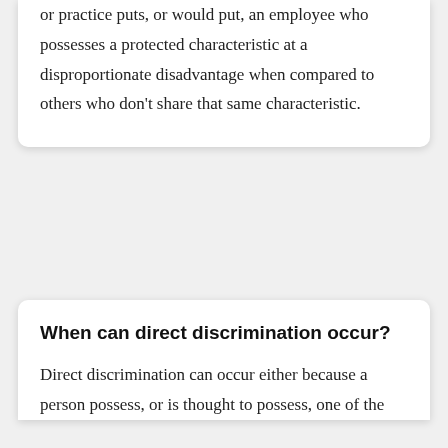or practice puts, or would put, an employee who possesses a protected characteristic at a disproportionate disadvantage when compared to others who don't share that same characteristic.
When can direct discrimination occur?
Direct discrimination can occur either because a person possess, or is thought to possess, one of the